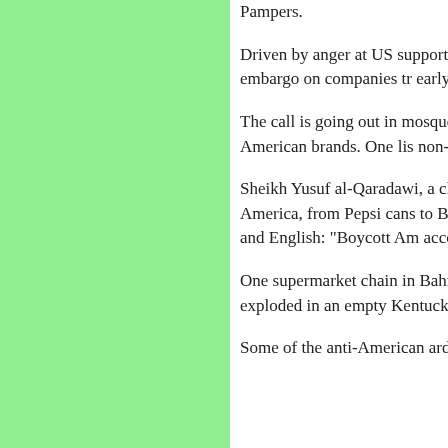[Figure (other): Green rectangle panel on the left side of the page]
Pampers.
Driven by anger at US support fo West Bank, the boycott is taking League embargo on companies tr early 1990s, according to a report
The call is going out in mosques, and lists are circulating in many popular American brands. One lis non- American, presumably due t
Sheikh Yusuf al-Qaradawi, a cler television channel, has a banner America, from Pepsi cans to Boe scenes of devastation in the Jenin Arabic and English: "Boycott Am accomplice."
One supermarket chain in Bahrai products on its shelves. In Tripoli exploded in an empty Kentucky F Nobody was hurt.
Some of the anti-American ardou the widely circulated but untrue t